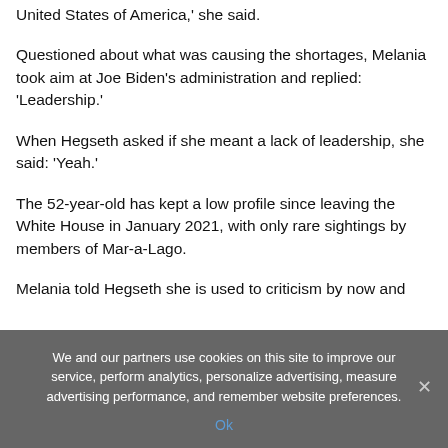United States of America,' she said.
Questioned about what was causing the shortages, Melania took aim at Joe Biden's administration and replied: 'Leadership.'
When Hegseth asked if she meant a lack of leadership, she said: 'Yeah.'
The 52-year-old has kept a low profile since leaving the White House in January 2021, with only rare sightings by members of Mar-a-Lago.
Melania told Hegseth she is used to criticism by now and
We and our partners use cookies on this site to improve our service, perform analytics, personalize advertising, measure advertising performance, and remember website preferences.
Ok